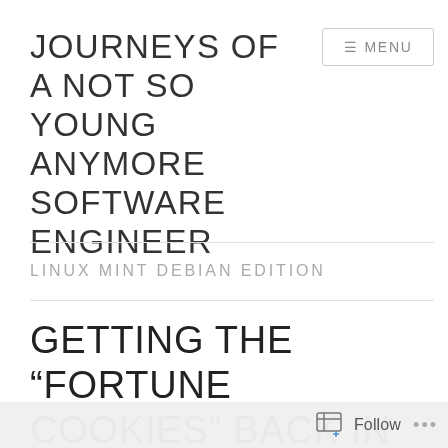JOURNEYS OF A NOT SO YOUNG ANYMORE SOFTWARE ENGINEER
LINUX MINT DEBIAN EDITION
GETTING THE “FORTUNE COOKIES” BACK IN THE LINUX MINT DEBIAN
Follow